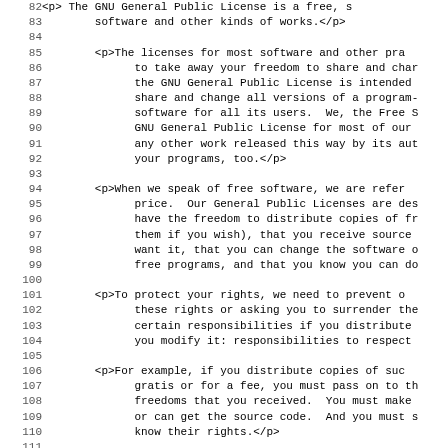Source code viewer showing lines 82-114 of an HTML/text file containing GNU GPL license text, displayed with line numbers in a monospace code view.